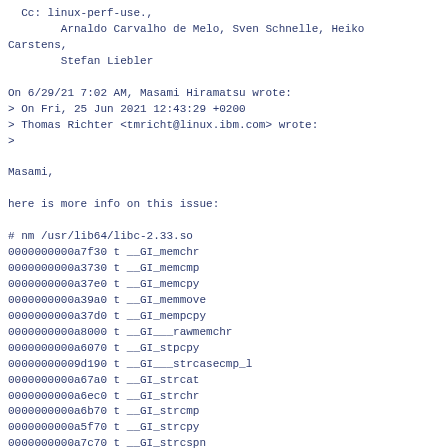Cc: linux-perf-use.,
        Arnaldo Carvalho de Melo, Sven Schnelle, Heiko Carstens,
        Stefan Liebler

On 6/29/21 7:02 AM, Masami Hiramatsu wrote:
> On Fri, 25 Jun 2021 12:43:29 +0200
> Thomas Richter <tmricht@linux.ibm.com> wrote:
>

Masami,

here is more info on this issue:

# nm /usr/lib64/libc-2.33.so
0000000000a7f30 t __GI_memchr
0000000000a3730 t __GI_memcmp
0000000000a37e0 t __GI_memcpy
0000000000a39a0 t __GI_memmove
0000000000a37d0 t __GI_mempcpy
0000000000a8000 t __GI___rawmemchr
0000000000a6070 t __GI_stpcpy
00000000009d190 t __GI___strcasecmp_l
0000000000a67a0 t __GI_strcat
0000000000a6ec0 t __GI_strchr
0000000000a6b70 t __GI_strcmp
0000000000a5f70 t __GI_strcpy
0000000000a7c70 t __GI_strcspn
0000000000a5ad0 t __GI_strlen
00000000009d200 t __GI___strncasecmp_l